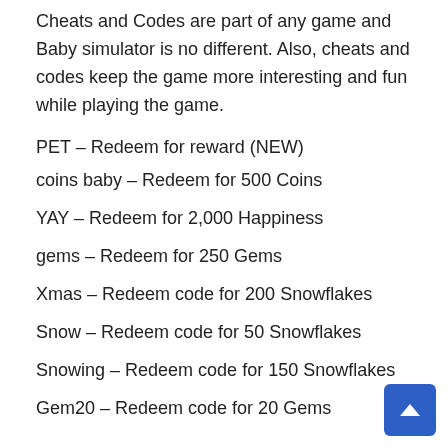Cheats and Codes are part of any game and Baby simulator is no different. Also, cheats and codes keep the game more interesting and fun while playing the game.
PET – Redeem for reward (NEW)
coins baby – Redeem for 500 Coins
YAY – Redeem for 2,000 Happiness
gems – Redeem for 250 Gems
Xmas – Redeem code for 200 Snowflakes
Snow – Redeem code for 50 Snowflakes
Snowing – Redeem code for 150 Snowflakes
Gem20 – Redeem code for 20 Gems